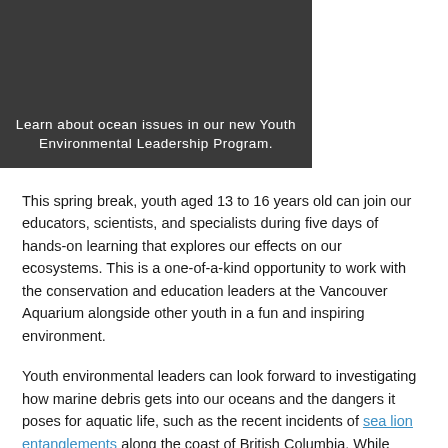[Figure (photo): Dark gray image block with text overlay reading 'Learn about ocean issues in our new Youth Environmental Leadership Program.']
This spring break, youth aged 13 to 16 years old can join our educators, scientists, and specialists during five days of hands-on learning that explores our effects on our ecosystems. This is a one-of-a-kind opportunity to work with the conservation and education leaders at the Vancouver Aquarium alongside other youth in a fun and inspiring environment.
Youth environmental leaders can look forward to investigating how marine debris gets into our oceans and the dangers it poses for aquatic life, such as the recent incidents of sea lion entanglements along the coast of British Columbia. While exploring the impact of climate change on our Arctic, youth will also discover their personal carbon footprint and what they can